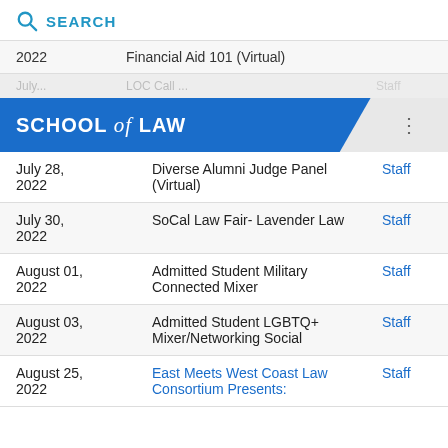SEARCH
| Date | Event | Audience |
| --- | --- | --- |
| 2022 | Financial Aid 101 (Virtual) |  |
| July 28, 2022 | Diverse Alumni Judge Panel (Virtual) | Staff |
| July 30, 2022 | SoCal Law Fair- Lavender Law | Staff |
| August 01, 2022 | Admitted Student Military Connected Mixer | Staff |
| August 03, 2022 | Admitted Student LGBTQ+ Mixer/Networking Social | Staff |
| August 25, 2022 | East Meets West Coast Law Consortium Presents: | Staff |